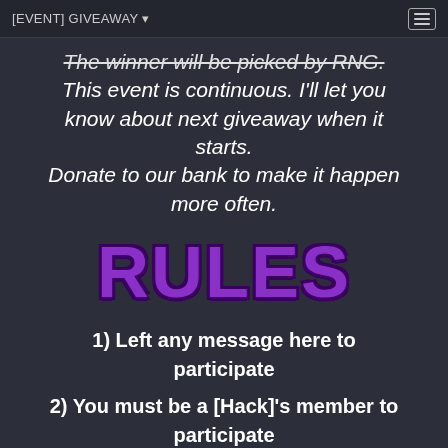[EVENT] GIVEAWAY ▾
The winner will be picked by RNG. This event is continuous. I'll let you know about next giveaway when it starts. Donate to our bank to make it happen more often.
RULES
1) Left any message here to participate
2) You must be a [Hack]'s member to participate